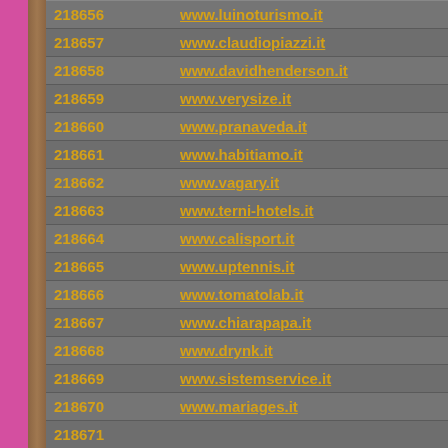| ID | URL |
| --- | --- |
| 218656 | www.luinoturismo.it |
| 218657 | www.claudiopiazzi.it |
| 218658 | www.davidhenderson.it |
| 218659 | www.verysize.it |
| 218660 | www.pranaveda.it |
| 218661 | www.habitiamo.it |
| 218662 | www.vagary.it |
| 218663 | www.terni-hotels.it |
| 218664 | www.calisport.it |
| 218665 | www.uptennis.it |
| 218666 | www.tomatolab.it |
| 218667 | www.chiarapapa.it |
| 218668 | www.drynk.it |
| 218669 | www.sistemservice.it |
| 218670 | www.mariages.it |
| 218671 |  |